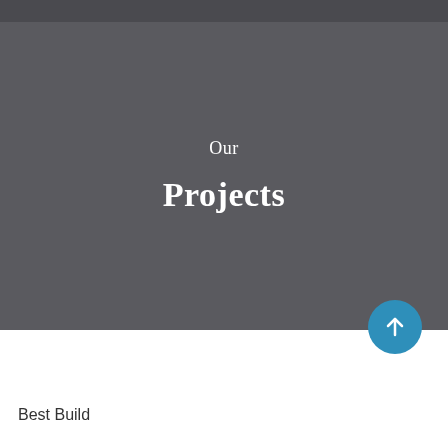Our
Projects
[Figure (other): Blue circular scroll-to-top button with upward arrow icon]
Best Build